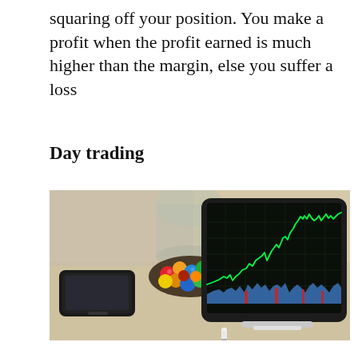squaring off your position. You make a profit when the profit earned is much higher than the margin, else you suffer a loss
Day trading
[Figure (photo): A tablet displaying a stock trading chart with a green candlestick/line chart on a dark background, blue and red volume bars at the bottom. A smartphone, a glass jar of colorful M&M candies, and an Apple Pencil are visible on a desk in the background.]